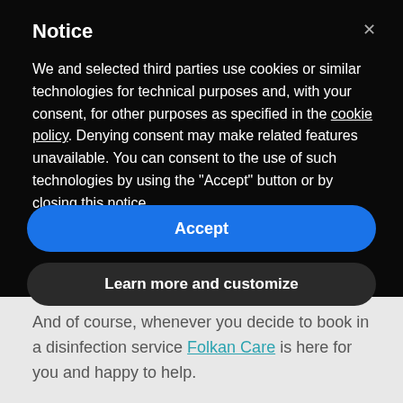Notice
We and selected third parties use cookies or similar technologies for technical purposes and, with your consent, for other purposes as specified in the cookie policy. Denying consent may make related features unavailable. You can consent to the use of such technologies by using the "Accept" button or by closing this notice.
Accept
Learn more and customize
And of course, whenever you decide to book in a disinfection service Folkan Care is here for you and happy to help.